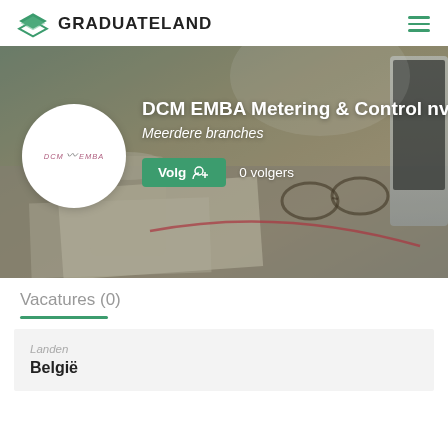GRADUATELAND
[Figure (screenshot): Hero banner showing a desk scene with glasses, books, a drink and a laptop. Includes a circular white logo for DCM EMBA Metering & Control nv, the company name, subtitle 'Meerdere branches', a green 'Volg' button with person-add icon, and '0 volgers' text.]
Vacatures (0)
Landen
België